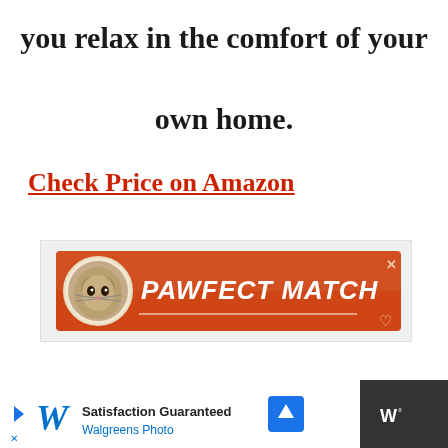you relax in the comfort of your own home.
Check Price on Amazon
[Figure (illustration): PAWFECT MATCH advertisement banner with orange/red background, cat face circle on left, white italic bold text 'PAWFECT MATCH', underline bar, heart icon, and close X button]
[Figure (illustration): Bottom advertisement bar: Walgreens Photo ad on white background with Walgreens cursive logo, 'Satisfaction Guaranteed' text, blue navigation icon; dark section on right with 'W°' logo]